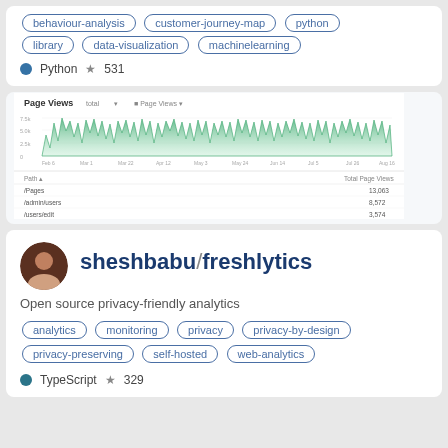behaviour-analysis, customer-journey-map, python, library, data-visualization, machinelearning
Python ☆531
[Figure (screenshot): Screenshot of a Page Views analytics dashboard showing a green area/bar chart with dense time-series data, and a table below with columns 'Path' and 'Total Page Views' with rows for Pages, adminusers, and /users/edit.]
sheshbabu/freshlytics
Open source privacy-friendly analytics
analytics, monitoring, privacy, privacy-by-design, privacy-preserving, self-hosted, web-analytics
TypeScript ☆329